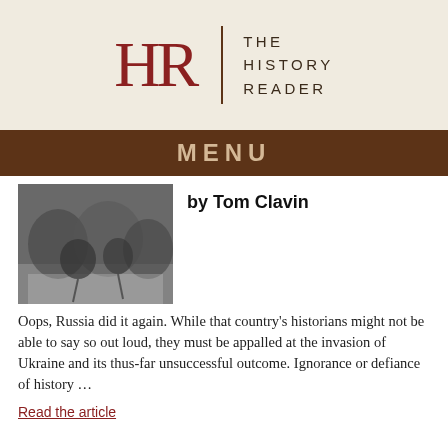THE HISTORY READER
MENU
by Tom Clavin
[Figure (photo): Black and white photograph of soldiers or people in winter conditions]
Oops, Russia did it again. While that country's historians might not be able to say so out loud, they must be appalled at the invasion of Ukraine and its thus-far unsuccessful outcome. Ignorance or defiance of history …
Read the article
The City Beneath the Mountains
[Figure (photo): Black and white photograph of mountains or landscape]
by Edmund Richardson